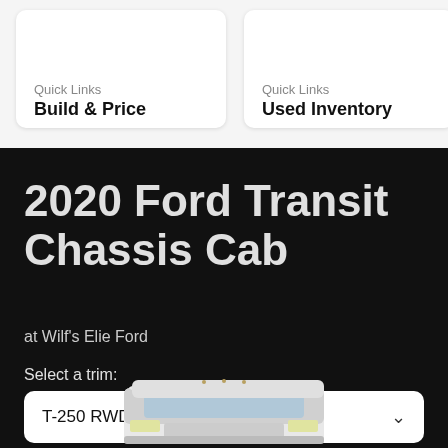Quick Links
Build & Price
Quick Links
Used Inventory
2020 Ford Transit Chassis Cab
at Wilf's Elie Ford
Select a trim:
T-250 RWD 156" 9000 GVWR SRW
[Figure (photo): Partial front view of a white Ford Transit Chassis Cab vehicle]